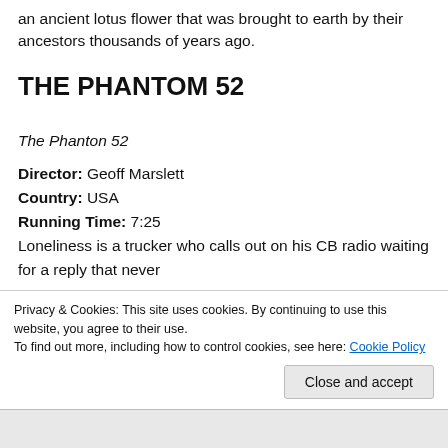an ancient lotus flower that was brought to earth by their ancestors thousands of years ago.
THE PHANTOM 52
The Phanton 52
Director: Geoff Marslett
Country: USA
Running Time: 7:25
Loneliness is a trucker who calls out on his CB radio waiting for a reply that never
Privacy & Cookies: This site uses cookies. By continuing to use this website, you agree to their use.
To find out more, including how to control cookies, see here: Cookie Policy
Close and accept